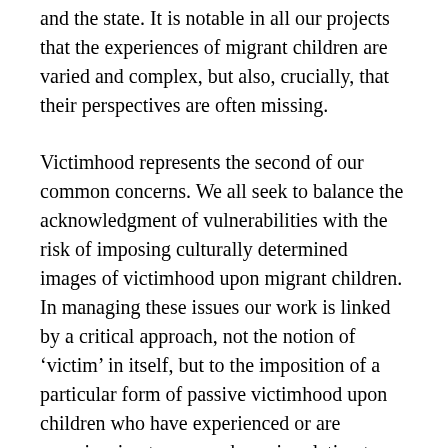and the state. It is notable in all our projects that the experiences of migrant children are varied and complex, but also, crucially, that their perspectives are often missing.
Victimhood represents the second of our common concerns. We all seek to balance the acknowledgment of vulnerabilities with the risk of imposing culturally determined images of victimhood upon migrant children. In managing these issues our work is linked by a critical approach, not the notion of ‘victim’ in itself, but to the imposition of a particular form of passive victimhood upon children who have experienced or are experiencing trauma or harm in relation to forced migration.
Our differences: